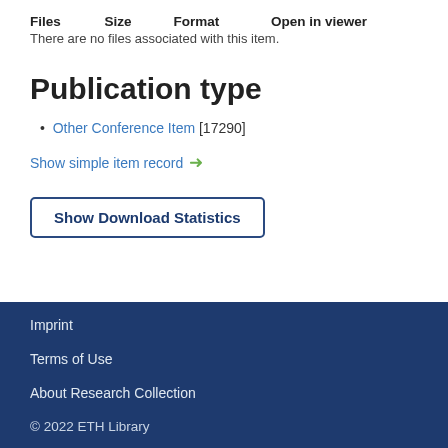| Files | Size | Format | Open in viewer |
| --- | --- | --- | --- |
There are no files associated with this item.
Publication type
Other Conference Item [17290]
Show simple item record →
Show Download Statistics
Imprint
Terms of Use
About Research Collection
© 2022 ETH Library